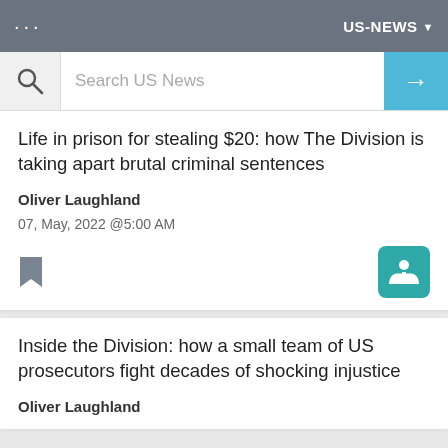US-NEWS
Search US News
Life in prison for stealing $20: how The Division is taking apart brutal criminal sentences
Oliver Laughland
07, May, 2022 @5:00 AM
Inside the Division: how a small team of US prosecutors fight decades of shocking injustice
Oliver Laughland